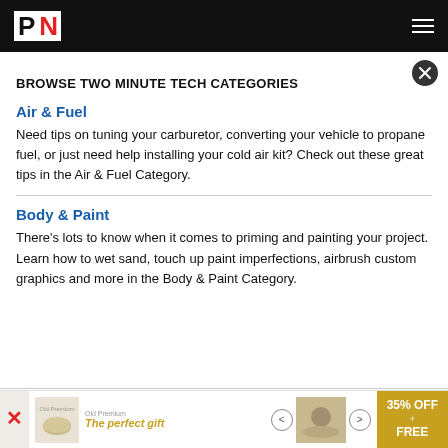PN
BROWSE TWO MINUTE TECH CATEGORIES
Air & Fuel
Need tips on tuning your carburetor, converting your vehicle to propane fuel, or just need help installing your cold air kit? Check out these great tips in the Air & Fuel Category.
Body & Paint
There's lots to know when it comes to priming and painting your project. Learn how to wet sand, touch up paint imperfections, airbrush custom graphics and more in the Body & Paint Category.
[Figure (other): Advertisement banner at the bottom of the page showing 'The perfect gift' with food imagery and '35% OFF + FREE' offer badge]